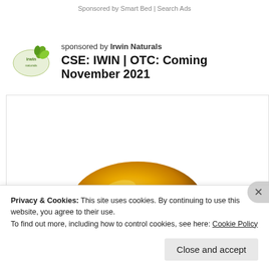Sponsored by Smart Bed | Search Ads
sponsored by Irwin Naturals
CSE: IWIN | OTC: Coming November 2021
[Figure (photo): Golden/amber colored gel capsule or supplement pill on white background]
Privacy & Cookies: This site uses cookies. By continuing to use this website, you agree to their use.
To find out more, including how to control cookies, see here: Cookie Policy
Close and accept